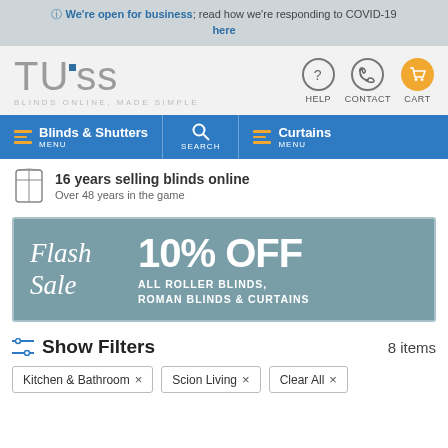We're open for business; read how we're responding to COVID-19 here
[Figure (logo): TUISS logo with tagline BLINDS ONLINE, MADE SIMPLE, with help, contact and cart icons]
[Figure (infographic): Navigation bar with Blinds & Shutters menu, Search, and Curtains menu]
16 years selling blinds online
Over 48 years in the game
[Figure (infographic): Flash Sale banner: 10% OFF ALL ROLLER BLINDS, ROMAN BLINDS & CURTAINS]
Show Filters  8 items
Kitchen & Bathroom ×
Scion Living ×
Clear All ×